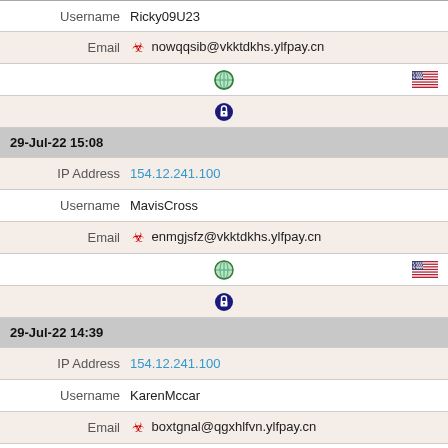| Username | Ricky09U23 |
| Email | 🔴 nowqqsib@vkktdkhs.ylfpay.cn |
| (globe icon) | (flag icon) |
| (lock icon) |  |
| 29-Jul-22 15:08 |  |
| IP Address | 154.12.241.100 |
| Username | MavisCross |
| Email | 🔴 enmgjsfz@vkktdkhs.ylfpay.cn |
| (globe icon) | (flag icon) |
| (lock icon) |  |
| 29-Jul-22 14:39 |  |
| IP Address | 154.12.241.100 |
| Username | KarenMccar |
| Email | 🔴 boxtgnal@qgxhlfvn.ylfpay.cn |
| (globe icon) | (flag icon) |
| (lock icon) |  |
| 29-Jul-22 00:12 |  |